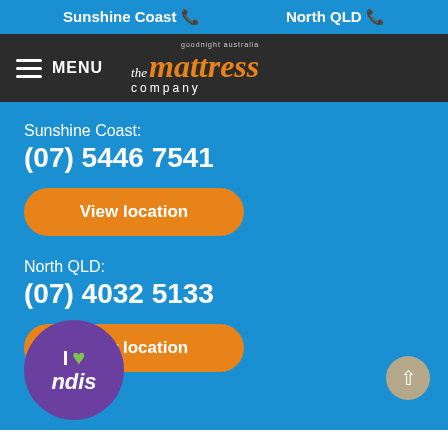Sunshine Coast 📞  North QLD 📞
[Figure (logo): The Mattress Company logo with Goodnight Australia branding on dark background nav bar with hamburger menu and MENU label]
Sunshine Coast:
(07) 5446 7541
View location
North QLD:
(07) 4032 5133
View location
[Figure (logo): I Love NDIS circular badge with purple background, green heart, white text]